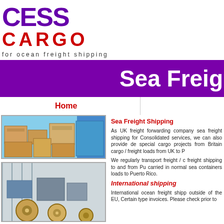[Figure (logo): Access Cargo logo with purple CESS text and red CARGO text, tagline: for ocean freight shipping]
Sea Freig
Home
[Figure (photo): Photo of cardboard boxes stacked in a shipping container]
Sea Freight Shipping
As UK freight forwarding company sea freight shipping for Consolidated services, we can also provide de special cargo projects from Britain cargo / freight loads from UK to P
We regularly transport freight / c freight shipping to and from Pu carried in normal sea containers loads to Puerto Rico.
[Figure (photo): Photo of cargo items including reels and packages inside a shipping container]
International shipping
International ocean freight shipp outside of the EU, Certain type invoices. Please check prior to